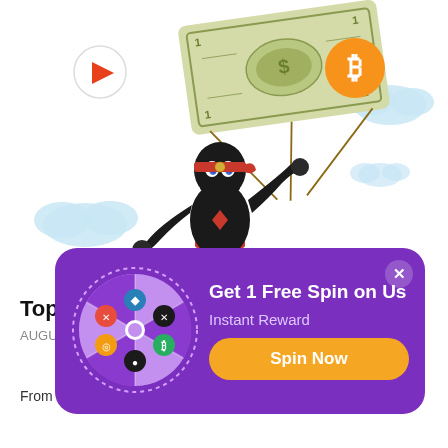[Figure (illustration): Cartoon ninja character holding a large dollar bill as a parachute, floating in the sky with clouds, a Bitcoin logo, and a triangular play-button logo]
[Figure (infographic): Purple popup modal with a spin wheel on the left showing crypto icons, text 'Get 1 Free Spin on Us', 'Instant Reward', and an orange 'Spin Now' button]
Top
AUGU
From in-house tokens, new styles of play, initial coin